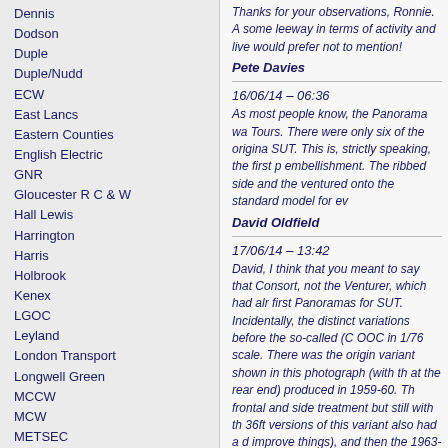Dennis
Dodson
Duple
Duple/Nudd
ECW
East Lancs
Eastern Counties
English Electric
GNR
Gloucester R C & W
Hall Lewis
Harrington
Harris
Holbrook
Kenex
LGOC
Leyland
London Transport
Longwell Green
MCCW
MCW
METSEC
MH Cars
Mann Egerton
Marshall
Martin Walker
Massey
Metalcraft
Metro-Cammell
Moulton
Thanks for your observations, Ronnie. A some leeway in terms of activity and live would prefer not to mention!
Pete Davies
16/06/14 – 06:36
As most people know, the Panorama wa Tours. There were only six of the origina SUT. This is, strictly speaking, the first p embellishment. The ribbed side and the ventured onto the standard model for ev
David Oldfield
17/06/14 – 13:42
David, I think that you meant to say that Consort, not the Venturer, which had alr first Panoramas for SUT. Incidentally, the distinct variations before the so-called (C OOC in 1/76 scale. There was the origin variant shown in this photograph (with th at the rear end) produced in 1959-60. Th frontal and side treatment but still with th 36ft versions of this variant also had a d improve things), and then the 1963-64 v the "droop" and the nasty rear window. H series of evolutionary improvements. Pl